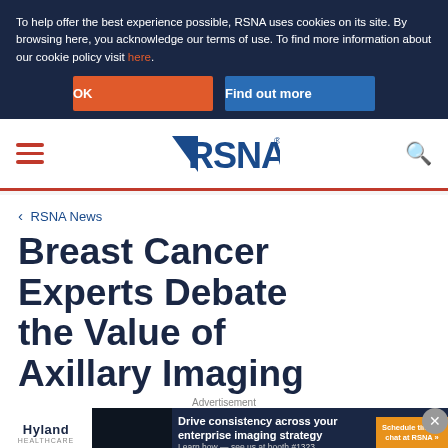To help offer the best experience possible, RSNA uses cookies on its site. By browsing here, you acknowledge our terms of use. To find more information about our cookie policy visit here.
OK
Find out more
[Figure (logo): RSNA logo with hamburger menu and search icon navigation bar]
< RSNA News
Breast Cancer Experts Debate the Value of Axillary Imaging
Advertisement
[Figure (screenshot): Hyland Healthcare advertisement banner: Drive consistency across your enterprise imaging strategy. Learn how — see us at booth #1323. Schedule time to chat at RSNA button.]